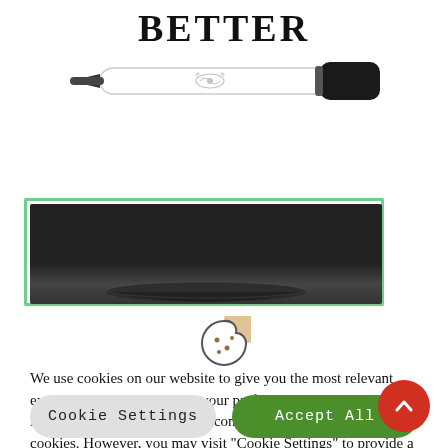BETTER
[Figure (photo): A whiteboard marker pen with a black cap and a leaf/coffee bean logo on the barrel, lying horizontally]
[Figure (photo): A dark/black background image showing what appears to be a dark bowl or pan shape at the bottom, with a green border around the image]
[Figure (illustration): Cookie consent icon: a cookie with bite taken out of it]
We use cookies on our website to give you the most relevant experience by remembering your preferences and repeat visits. By clicking "Accept All", you consent to the use of All the cookies. However, you may visit "Cookie Settings" to provide a controlled consent.
Cookie Settings
Accept All